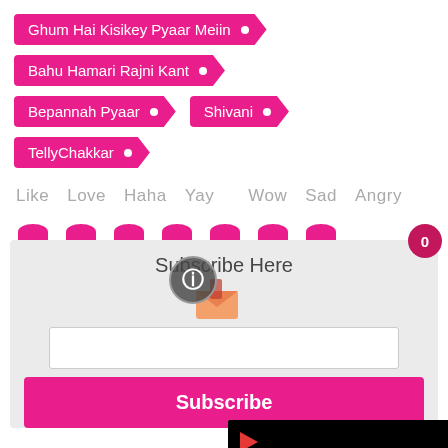Ghum Hai Kisikey Pyaar Meiin
Bahu Hamari Rajni Kant
Bepannah Pyaar
Shivani
TellyChakkar
Like   Love  Haha  Yay    Wow  Sad   Angry
Subscribe Here
Subscribe
[Figure (screenshot): Video player thumbnail with black background, play button arrow in red, and loading spinner circle in center]